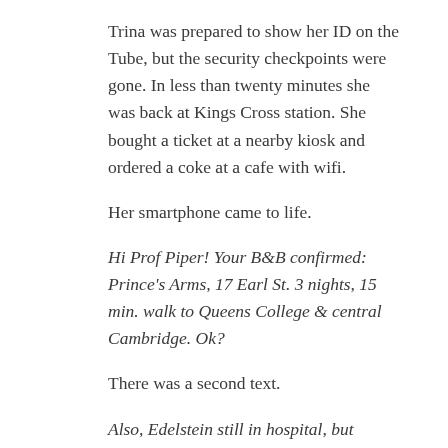Trina was prepared to show her ID on the Tube, but the security checkpoints were gone. In less than twenty minutes she was back at Kings Cross station. She bought a ticket at a nearby kiosk and ordered a coke at a cafe with wifi.
Her smartphone came to life.
Hi Prof Piper! Your B&B confirmed: Prince's Arms, 17 Earl St. 3 nights, 15 min. walk to Queens College & central Cambridge. Ok?
There was a second text.
Also, Edelstein still in hospital, but nurses say he's getting stronger. Probably won't be out by Thanksgiving though. Bummer. Hospital makes turkey dinner — that's nice. Have fun in Cambridge!